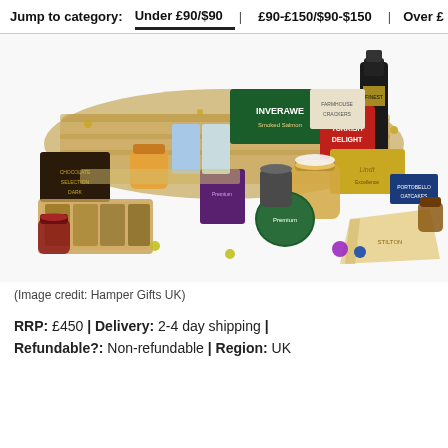Jump to category: Under £90/$90 | £90-£150/$90-$150 | Over £
[Figure (photo): A large luxury Christmas hamper basket overflowing with gourmet food and drink products including wine, chocolates, crackers, jams, Turkish delight, Inverawe smoked salmon, Lindt chocolates, Paxton and Whitfield cheese, and various other premium items arranged on a white background.]
(Image credit: Hamper Gifts UK)
RRP: £450 | Delivery: 2-4 day shipping | Refundable?: Non-refundable | Region: UK